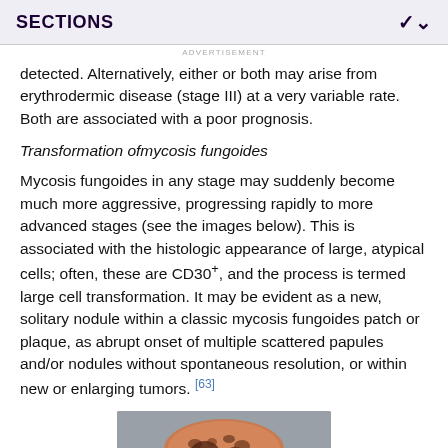SECTIONS
ADVERTISEMENT
detected. Alternatively, either or both may arise from erythrodermic disease (stage III) at a very variable rate. Both are associated with a poor prognosis.
Transformation of mycosis fungoides
Mycosis fungoides in any stage may suddenly become much more aggressive, progressing rapidly to more advanced stages (see the images below). This is associated with the histologic appearance of large, atypical cells; often, these are CD30+, and the process is termed large cell transformation. It may be evident as a new, solitary nodule within a classic mycosis fungoides patch or plaque, as abrupt onset of multiple scattered papules and/or nodules without spontaneous resolution, or within new or enlarging tumors. [63]
[Figure (photo): Clinical photograph of a skin lesion, showing a rounded mass with dark mottled coloration on a grey background, consistent with mycosis fungoides transformation.]